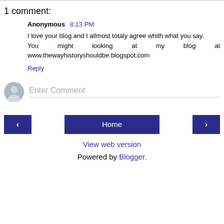1 comment:
Anonymous 8:13 PM
I love your blog and I allmost totaly agree whith what you say.
You might looking at my blog at www.thewayhistoryshouldbe.blogspot.com
Reply
[Figure (illustration): Grey user avatar icon with placeholder silhouette, next to an Enter Comment input field]
Home
View web version
Powered by Blogger.